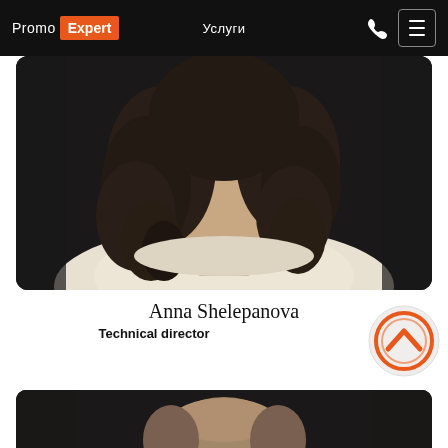Promo Expert — Услуги
[Figure (photo): Portrait photo of Anna Shelepanova, a woman with curly dark hair wearing a white sleeveless top, cropped at the shoulders, dark background]
Anna Shelepanova
Technical director
[Figure (photo): Partial portrait photo of a man with light brown hair, top of head visible, dark background]